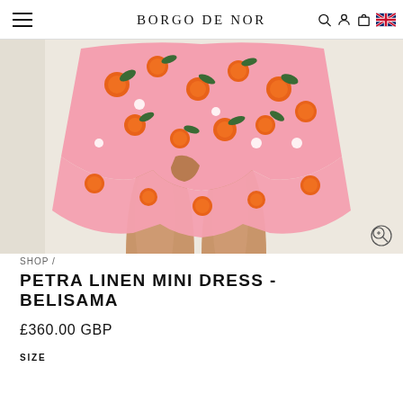BORGO DE NOR
[Figure (photo): Close-up photo of a model wearing a floral mini dress with orange fruit print on pink background, showing lower torso and legs against a beige/cream background.]
SHOP /
PETRA LINEN MINI DRESS - BELISAMA
£360.00 GBP
SIZE